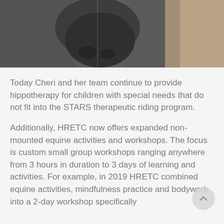[Figure (photo): Close-up photo of a horse's snout/muzzle from above, dark coat visible, with lighter coloring on the right side]
Today Cheri and her team continue to provide hippotherapy for children with special needs that do not fit into the STARS therapeutic riding program.
Additionally, HRETC now offers expanded non-mounted equine activities and workshops. The focus is custom small group workshops ranging anywhere from 3 hours in duration to 3 days of learning and activities. For example, in 2019 HRETC combined equine activities, mindfulness practice and bodywork into a 2-day workshop specifically